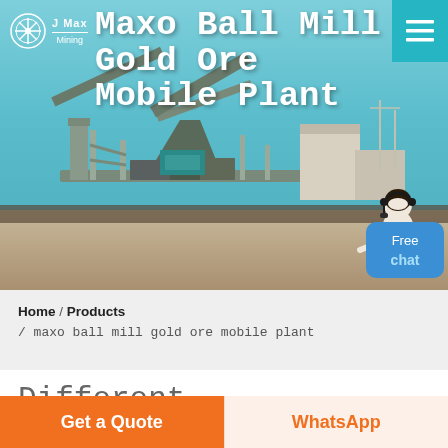[Figure (photo): Hero banner showing a gold ore mobile processing plant with conveyor belts and industrial equipment against a blue sky background, with navigation bar and logo overlay]
Maxo Ball Mill Gold Ore Mobile Plant
Home / Products / maxo ball mill gold ore mobile plant
Different Machines To Meet All Needs
Get a Quote
WhatsApp